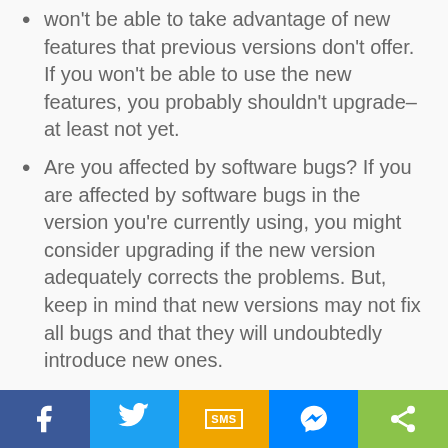won't be able to take advantage of new features that previous versions don't offer. If you won't be able to use the new features, you probably shouldn't upgrade–at least not yet.
Are you affected by software bugs? If you are affected by software bugs in the version you're currently using, you might consider upgrading if the new version adequately corrects the problems. But, keep in mind that new versions may not fix all bugs and that they will undoubtedly introduce new ones.
Would you benefit from more user-friendly features? Many upgrades these days boast more user-friendly features and wizards that can help you accomplish your goals